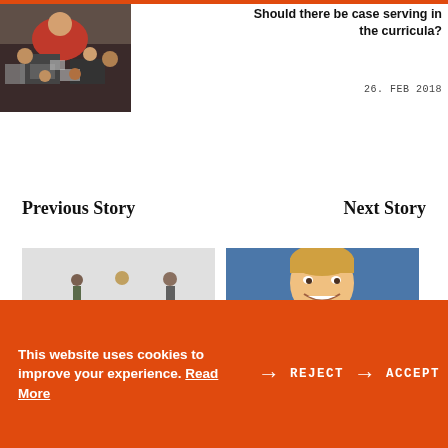[Figure (photo): Crowd of people at an event, person in red shirt visible, laptops on tables]
Should there be case serving in the curricula?
26. FEB 2018
Previous Story
Next Story
[Figure (photo): Three small figurines of people standing on a light grey background]
[Figure (photo): Young smiling man with light hair, photographed outdoors]
This website uses cookies to improve your experience. Read More REJECT ACCEPT